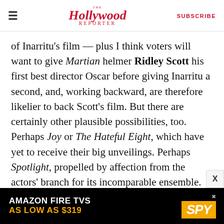The Hollywood Reporter | SUBSCRIBE
of Inarritu's film — plus I think voters will want to give Martian helmer Ridley Scott his first best director Oscar before giving Inarritu a second, and, working backward, are therefore likelier to back Scott's film. But there are certainly other plausible possibilities, too. Perhaps Joy or The Hateful Eight, which have yet to receive their big unveilings. Perhaps Spotlight, propelled by affection from the actors' branch for its incomparable ensemble. Or perhaps an out-of-left-field pick like Straight Outta Compton or The Danish Girl, which are actually about issues that people are dealing with and talking about in the real world today.
[Figure (other): Amazon Fire TVs advertisement banner — 'AMAZON FIRE TVS AS LOW AS $319' with SPY logo]